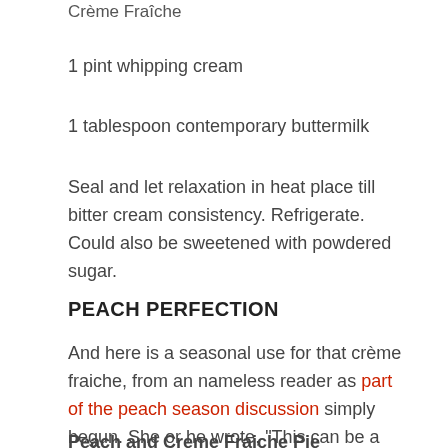Crème Fraîche
1 pint whipping cream
1 tablespoon contemporary buttermilk
Seal and let relaxation in heat place till bitter cream consistency. Refrigerate. Could also be sweetened with powdered sugar.
PEACH PERFECTION
And here is a seasonal use for that crème fraiche, from an nameless reader as part of the peach season discussion simply begun. She or he wrote, "This can be a Martha Stewart recipe. I have never tried it, nevertheless it certain seems good."
Peach and Creme Fraiche Pie